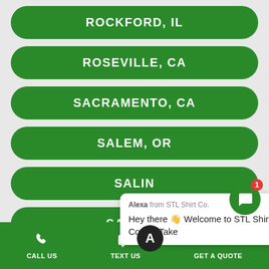ROCKFORD, IL
ROSEVILLE, CA
SACRAMENTO, CA
SALEM, OR
SALIN...
SALT LAKE...
SAN ANTONIO, TX
Alexa from STL Shirt Co.
Hey there 👋 Welcome to STL Shirt Co. 🙌 Take
CALL US   TEXT US   GET A QUOTE